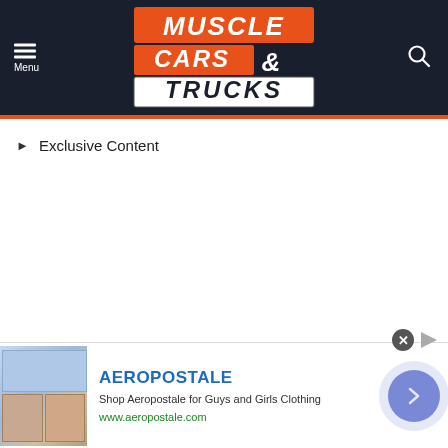[Figure (logo): Muscle Cars & Trucks website logo on dark navy background with hamburger menu and search icon]
▶ Exclusive Content
[Figure (screenshot): Aeropostale advertisement banner with product images, brand name, description and navigation arrow]